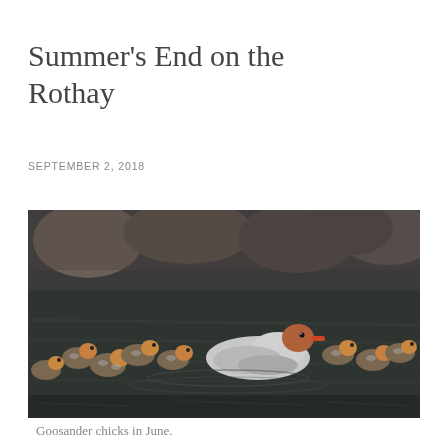Summer's End on the Rothay
SEPTEMBER 2, 2018
[Figure (photo): A female Goosander duck swimming on a river with a large group of ducklings around her, with rocks visible in the background.]
Goosander chicks in June.